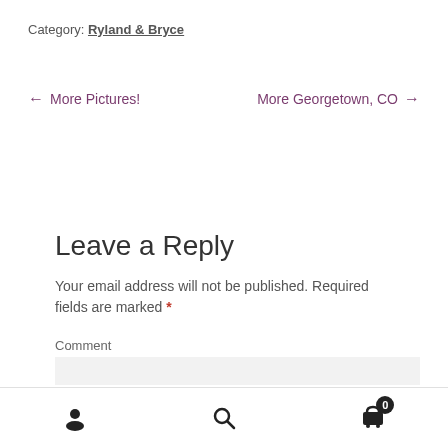Category: Ryland & Bryce
← More Pictures!   More Georgetown, CO →
Leave a Reply
Your email address will not be published. Required fields are marked *
Comment